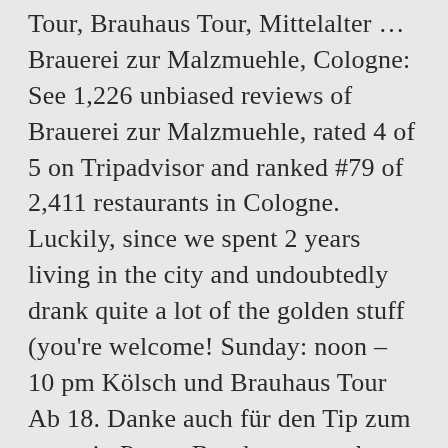Tour, Brauhaus Tour, Mittelalter ... Brauerei zur Malzmuehle, Cologne: See 1,226 unbiased reviews of Brauerei zur Malzmuehle, rated 4 of 5 on Tripadvisor and ranked #79 of 2,411 restaurants in Cologne. Luckily, since we spent 2 years living in the city and undoubtedly drank quite a lot of the golden stuff (you're welcome! Sunday: noon – 10 pm Kölsch und Brauhaus Tour Ab 18. Danke auch für den Tip zum essen in Peters Brauhaus zu gehen und das du noch mit uns ein paar Kölsch nach der Tour ... Stay at this 3-star hotel in Medebach. Hôtels proche de Antk Brauhaus Sion-Braeues. Diese Tour kann mit (27,00 Euro p.P.) Lecturers: Dr. Malte Wagenfeld Studio Partners: KISD, Köln, Germany Timetable (In Melbourne):